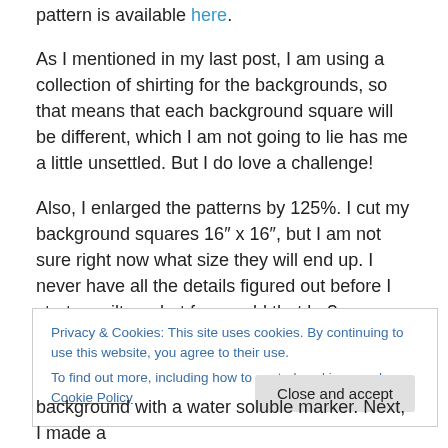pattern is available here.
As I mentioned in my last post, I am using a collection of shirting for the backgrounds, so that means that each background square will be different, which I am not going to lie has me a little unsettled.  But I do love a challenge!
Also, I enlarged the patterns by 125%.  I cut my background squares 16" x 16", but I am not sure right now what size they will end up.  I never have all the details figured out before I start a quilt....what fun would that be?  Sometimes you have to listen to the quilt!
Privacy & Cookies: This site uses cookies. By continuing to use this website, you agree to their use.
To find out more, including how to control cookies, see here: Cookie Policy
background with a water soluble marker.  Next, I made a